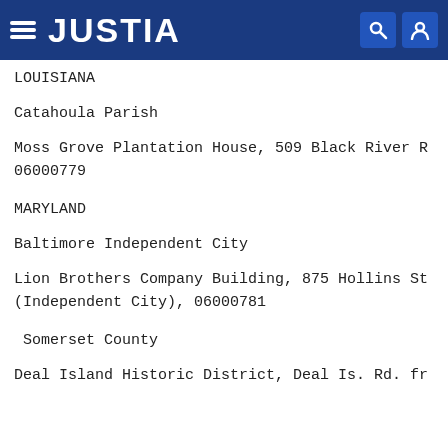JUSTIA
LOUISIANA
Catahoula Parish
Moss Grove Plantation House, 509 Black River R... 06000779
MARYLAND
Baltimore Independent City
Lion Brothers Company Building, 875 Hollins St... (Independent City), 06000781
Somerset County
Deal Island Historic District, Deal Is. Rd. fr...